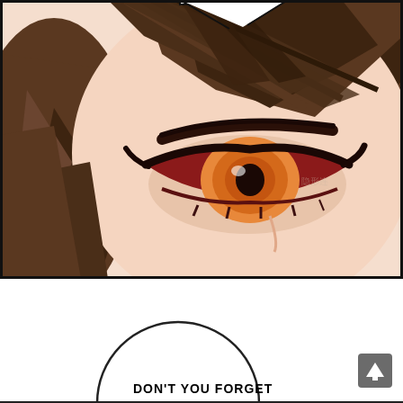[Figure (illustration): Close-up manga/manhwa panel of an anime-style character with brown hair covering part of their face, a single intense amber/orange eye visible with heavy dark eyeliner, pale skin with light pink shading. A speech bubble tail is visible at the top. Bordered by thick black lines.]
[Figure (illustration): Lower panel showing white background with a partial circular speech bubble at lower left containing partially visible text 'DON'T YOU FORGET', and a gray navigation button with an upward arrow at lower right.]
DON'T YOU FORGET